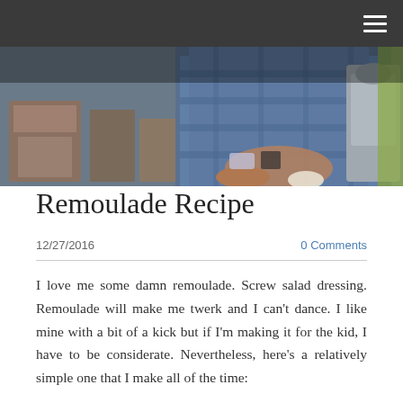[Figure (photo): A person in a blue plaid shirt working in a kitchen, with a stand mixer visible on the right side and kitchen items in the background.]
Remoulade Recipe
12/27/2016
0 Comments
I love me some damn remoulade. Screw salad dressing. Remoulade will make me twerk and I can't dance. I like mine with a bit of a kick but if I'm making it for the kid, I have to be considerate. Nevertheless, here's a relatively simple one that I make all of the time:
Ingredients